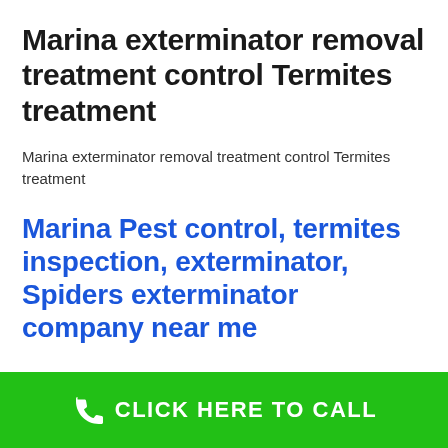Marina exterminator removal treatment control Termites treatment
Marina exterminator removal treatment control Termites treatment
Marina Pest control, termites inspection, exterminator, Spiders exterminator company near me
CLICK HERE TO CALL